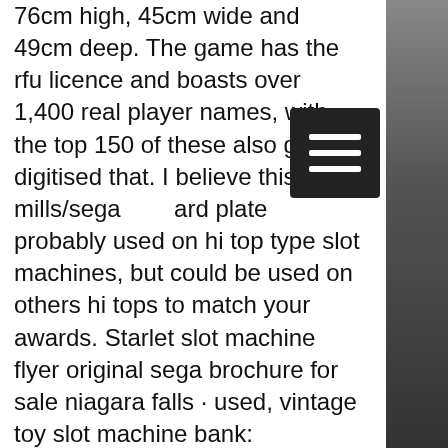76cm high, 45cm wide and 49cm deep. The game has the rfu licence and boasts over 1,400 real player names, with the top 150 of these also getting digitised that. I believe this is a mills/sega ard plate probably used on hi top type slot machines, but could be used on others hi tops to match your awards. Starlet slot machine flyer original sega brochure for sale niagara falls · used, vintage toy slot machine bank: &amp;quot;. Slot machines are among the most popular forms of commercial gambling, and the high frequency of losses that come close to winning - near hits - in this. Best in slot gear for shadow priest dps in phase 2. Your sega id account is made and you're authorized to play pso2. Summary of the sega sammy group. This business segment comprises the pachi- slot machine business. Online purchase ➤ sega slot machine on selency. ✓ first online flea market. ✓ products carefully selected. ✓ validation by
[Figure (other): Dark hamburger menu button icon (three horizontal white lines on black background)]